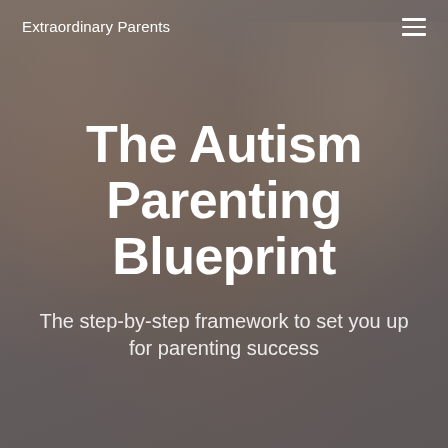Extraordinary Parents
[Figure (photo): A mother and child in an intimate moment, mother leaning in close to child's face. Both have light/reddish-brown hair. The image is in muted grayish tones with a soft focus background. Serves as the hero background image.]
The Autism Parenting Blueprint
The step-by-step framework to set you up for parenting success